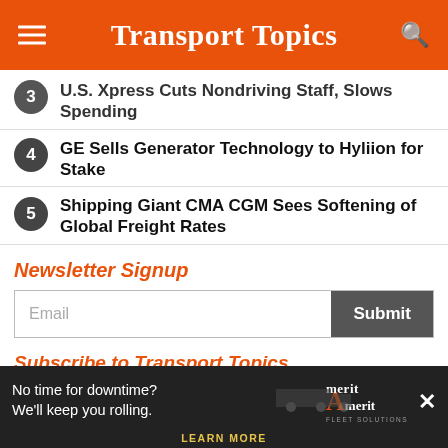Transport Topics
U.S. Xpress Cuts Nondriving Staff, Slows Spending
GE Sells Generator Technology to Hyliion for Stake
Shipping Giant CMA CGM Sees Softening of Global Freight Rates
Newsletter Signup
Email
Submit
Subscribe to Transport Topics
Subs...
[Figure (infographic): Amerit Fleet Solutions advertisement banner: 'No time for downtime? We'll keep you rolling.' with LEARN MORE call to action and truck graphic]
×